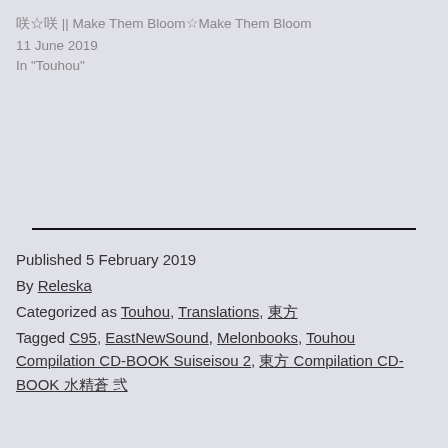咲☆咲 || Make Them Bloom☆Make Them Bloom
11 June 2019
In "Touhou"
Published 5 February 2019
By Releska
Categorized as Touhou, Translations, 東方
Tagged C95, EastNewSound, Melonbooks, Touhou Compilation CD-BOOK Suiseisou 2, 東方 Compilation CD-BOOK 水精蒼 弐